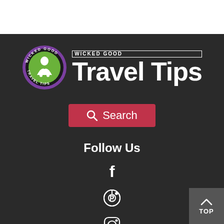[Figure (logo): Wicked Good Travel Tips logo with circular badge and large text]
[Figure (other): Red search button with magnifying glass icon and 'Search' text]
Follow Us
[Figure (other): Facebook icon (f)]
[Figure (other): Pinterest icon]
[Figure (other): Instagram icon]
[Figure (other): TOP button with upward chevron arrow]